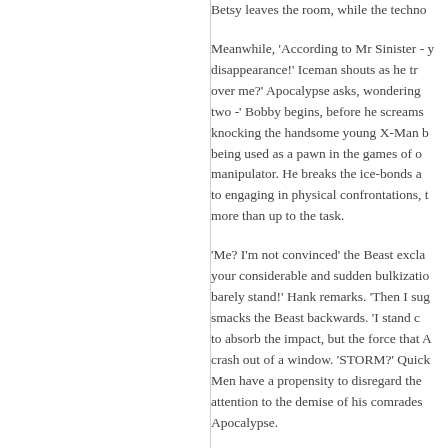Betsy leaves the room, while the techno...
Meanwhile, 'According to Mr Sinister - y... disappearance!' Iceman shouts as he tr... over me?' Apocalypse asks, wondering ... two -' Bobby begins, before he screams... knocking the handsome young X-Man b... being used as a pawn in the games of o... manipulator. He breaks the ice-bonds a... to engaging in physical confrontations, t... more than up to the task.
'Me? I'm not convinced' the Beast excla... your considerable and sudden bulkizatio... barely stand!' Hank remarks. 'Then I sug... smacks the Beast backwards. 'I stand c... to absorb the impact, but the force that A... crash out of a window. 'STORM?' Quick... Men have a propensity to disregard the... attention to the demise of his comrades... Apocalypse.
Someplace else, Jean Grey is held in p...